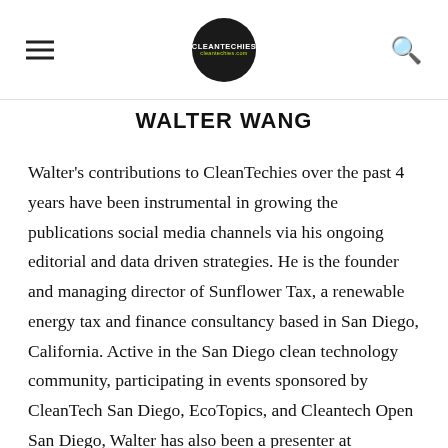CLEANTECHIES [logo]
WALTER WANG
Walter's contributions to CleanTechies over the past 4 years have been instrumental in growing the publications social media channels via his ongoing editorial and data driven strategies. He is the founder and managing director of Sunflower Tax, a renewable energy tax and finance consultancy based in San Diego, California. Active in the San Diego clean technology community, participating in events sponsored by CleanTech San Diego, EcoTopics, and Cleantech Open San Diego, Walter has also been a presenter at numerous California Center for Sustainability (CCSE) programs. He currently serves as an adjunct professor at the University of San Diego School of Law where he